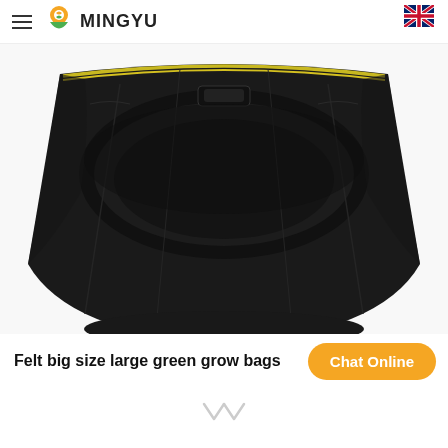MINGYU
[Figure (photo): Close-up top view of a black felt grow bag with yellow stitching/trim around the top rim and a black handle visible at the front center. The inside of the bag is visible showing dark fabric interior.]
Felt big size large green grow bags
Chat Online